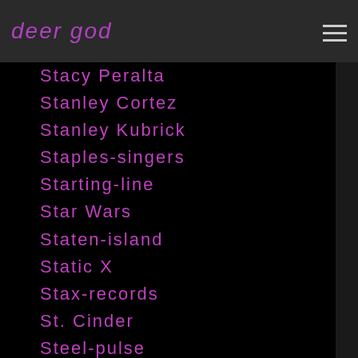deer god
Stacy Peralta
Stanley Cortez
Stanley Kubrick
Staples-singers
Starting-line
Star Wars
Staten-island
Static X
Stax-records
St. Cinder
Steel-pulse
Steezus-christ
Stephanie Mannaerts
Stephan Jenkins
Stephen Brodsky
Stephen Carpenter
Stephen Colbert